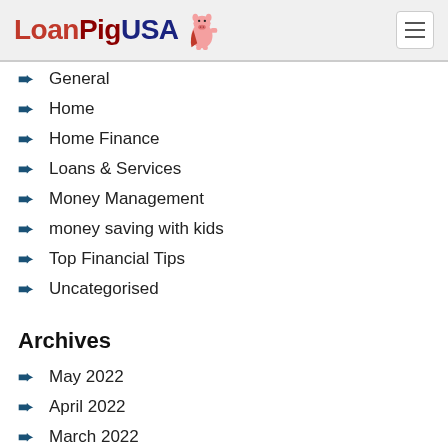LoanPigUSA
General
Home
Home Finance
Loans & Services
Money Management
money saving with kids
Top Financial Tips
Uncategorised
Archives
May 2022
April 2022
March 2022
February 2022